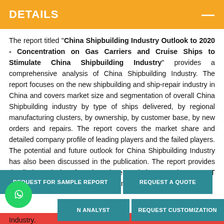DETAILS
The report titled "China Shipbuilding Industry Outlook to 2020 - Concentration on Gas Carriers and Cruise Ships to Stimulate China Shipbuilding Industry" provides a comprehensive analysis of China Shipbuilding Industry. The report focuses on the new shipbuilding and ship-repair industry in China and covers market size and segmentation of overall China Shipbuilding industry by type of ships delivered, by regional manufacturing clusters, by ownership, by customer base, by new orders and repairs. The report covers the market share and detailed company profile of leading players and the failed players. The potential and future outlook for China Shipbuilding Industry has also been discussed in the publication. The report provides detailed analysis of major players, their strategies, SWOT Analysis, Trends & Developments and major ... industry. The ... and every ... and investors ... a Shipbuilding Industry.